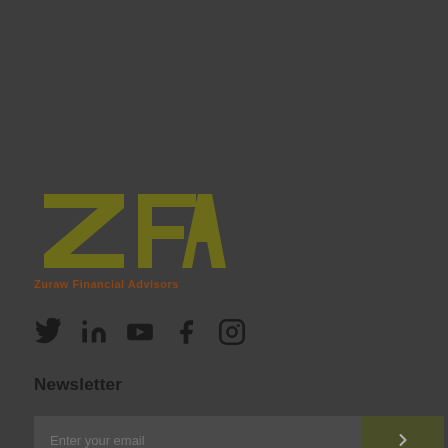[Figure (logo): ZFA Zuraw Financial Advisors logo with stylized ZFA letters in olive/dark yellow and text below in brown]
[Figure (other): Social media icons row: Twitter, LinkedIn, YouTube, Facebook, Instagram]
Newsletter
Enter your email [input field with submit button]